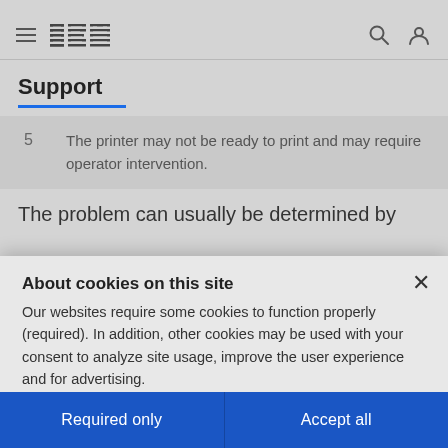IBM Support
Support
5   The printer may not be ready to print and may require operator intervention.
The problem can usually be determined by
About cookies on this site
Our websites require some cookies to function properly (required). In addition, other cookies may be used with your consent to analyze site usage, improve the user experience and for advertising.
For more information, please review your Cookie preferences options and IBM's privacy statement.
Required only
Accept all